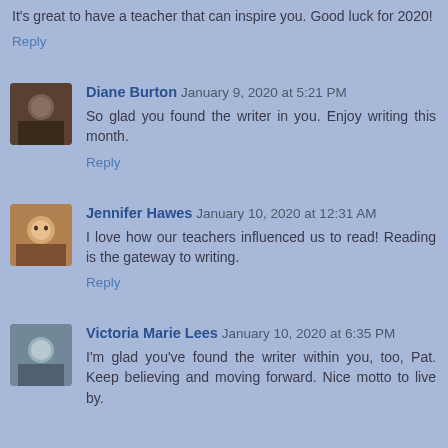It's great to have a teacher that can inspire you. Good luck for 2020!
Reply
Diane Burton  January 9, 2020 at 5:21 PM
So glad you found the writer in you. Enjoy writing this month.
Reply
Jennifer Hawes  January 10, 2020 at 12:31 AM
I love how our teachers influenced us to read! Reading is the gateway to writing.
Reply
Victoria Marie Lees  January 10, 2020 at 6:35 PM
I'm glad you've found the writer within you, too, Pat. Keep believing and moving forward. Nice motto to live by.